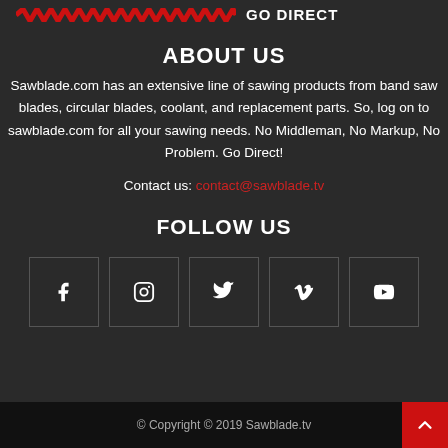GO DIRECT
ABOUT US
Sawblade.com has an extensive line of sawing products from band saw blades, circular blades, coolant, and replacement parts. So, log on to sawblade.com for all your sawing needs. No Middleman, No Markup, No Problem. Go Direct!
Contact us: contact@sawblade.tv
FOLLOW US
[Figure (infographic): Five social media icon boxes: Facebook (f), Instagram (camera), Twitter (bird), Vimeo (V), YouTube (play button)]
© Copyright © 2019 Sawblade.tv